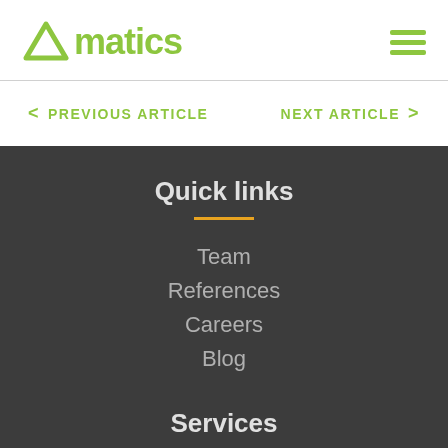∀matics
< PREVIOUS ARTICLE    NEXT ARTICLE >
Quick links
Team
References
Careers
Blog
Services